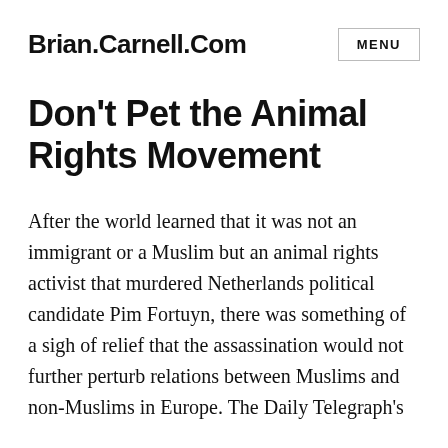Brian.Carnell.Com
Don't Pet the Animal Rights Movement
After the world learned that it was not an immigrant or a Muslim but an animal rights activist that murdered Netherlands political candidate Pim Fortuyn, there was something of a sigh of relief that the assassination would not further perturb relations between Muslims and non-Muslims in Europe. The Daily Telegraph's